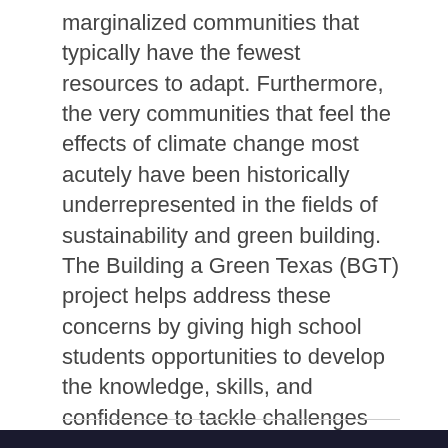marginalized communities that typically have the fewest resources to adapt. Furthermore, the very communities that feel the effects of climate change most acutely have been historically underrepresented in the fields of sustainability and green building. The Building a Green Texas (BGT) project helps address these concerns by giving high school students opportunities to develop the knowledge, skills, and confidence to tackle challenges posed by climate change.
Show More ▼